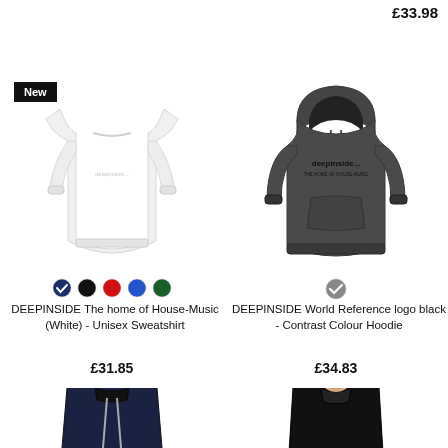£33.98
[Figure (photo): White unisex long-sleeve sweatshirt with DEEPINSIDE logo, labeled New]
[Figure (photo): Dark grey contrast colour hoodie with DEEPINSIDE World Reference logo in black]
DEEPINSIDE The home of House-Music (White) - Unisex Sweatshirt
£31.85
DEEPINSIDE World Reference logo black - Contrast Colour Hoodie
£34.83
[Figure (photo): Navy blue hoodie, partially visible at bottom left]
[Figure (photo): Black hoodie worn by female model, partially visible at bottom right]